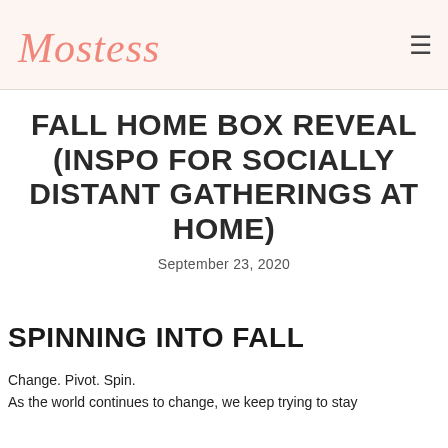Mostess
FALL HOME BOX REVEAL (INSPO FOR SOCIALLY DISTANT GATHERINGS AT HOME)
September 23, 2020
SPINNING INTO FALL
Change. Pivot. Spin.
As the world continues to change, we keep trying to stay